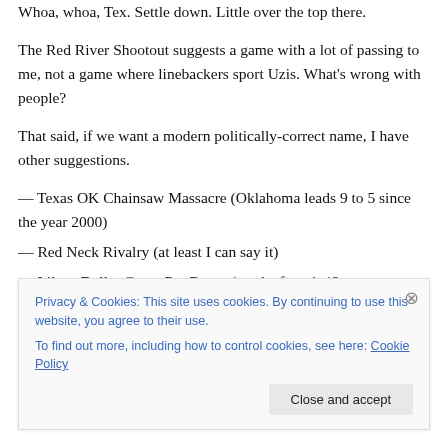Whoa, whoa, Tex. Settle down. Little over the top there.
The Red River Shootout suggests a game with a lot of passing to me, not a game where linebackers sport Uzis. What's wrong with people?
That said, if we want a modern politically-correct name, I have other suggestions.
— Texas OK Chainsaw Massacre (Oklahoma leads 9 to 5 since the year 2000)
— Red Neck Rivalry (at least I can say it)
— Like a Dollar Game Pot Better (send a favorite)?
Privacy & Cookies: This site uses cookies. By continuing to use this website, you agree to their use. To find out more, including how to control cookies, see here: Cookie Policy
Close and accept